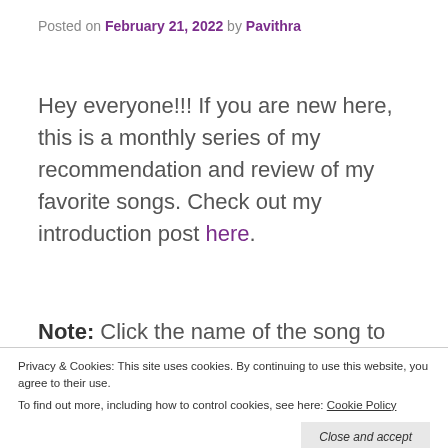Posted on February 21, 2022 by Pavithra
Hey everyone!!! If you are new here, this is a monthly series of my recommendation and review of my favorite songs. Check out my introduction post here.
Note: Click the name of the song to listen to it directly on YouTube.
Privacy & Cookies: This site uses cookies. By continuing to use this website, you agree to their use.
To find out more, including how to control cookies, see here: Cookie Policy
Close and accept
illa illa– B.T